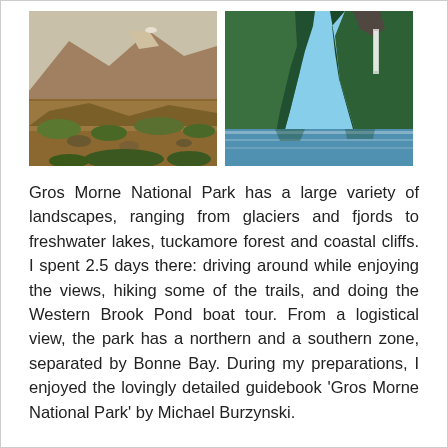[Figure (photo): Two landscape photos side by side: left shows a mountain valley with golden/brown rocky terrain and sparse green vegetation; right shows a fjord-like scene with steep green cliffs, a waterfall, and a lake with clear blue sky.]
Gros Morne National Park has a large variety of landscapes, ranging from glaciers and fjords to freshwater lakes, tuckamore forest and coastal cliffs. I spent 2.5 days there: driving around while enjoying the views, hiking some of the trails, and doing the Western Brook Pond boat tour. From a logistical view, the park has a northern and a southern zone, separated by Bonne Bay. During my preparations, I enjoyed the lovingly detailed guidebook ‘Gros Morne National Park’ by Michael Burzynski.
In the southern zone, I did the Tablelands hike and the Green Gardens hike. Driving up there, Tablelands